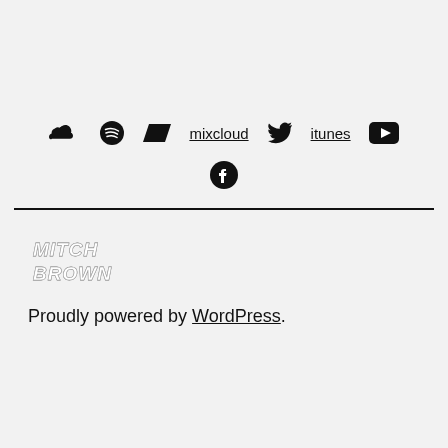[Figure (other): Social media icon links: SoundCloud, Spotify, Bandcamp, Mixcloud (text), Twitter, iTunes (text), YouTube, Facebook]
[Figure (logo): Mitch Brown stylized graffiti logo]
Proudly powered by WordPress.